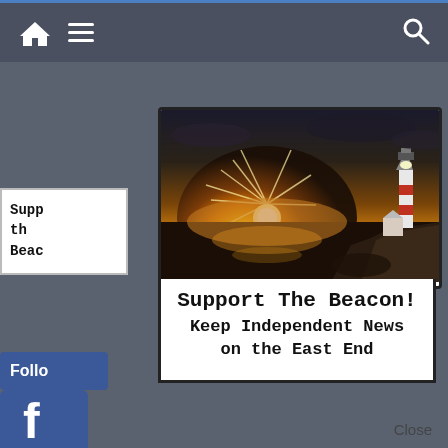[Figure (screenshot): Website navigation bar with home icon, hamburger menu icon on left, and search icon on right, dark gray background with blue top border]
[Figure (photo): Popup card showing coastal sunset scene with lighthouse on a rocky cliff to the right, sun setting over water with rays, dark dramatic sky]
Support The Beacon!
Keep Independent News on the East End
Close